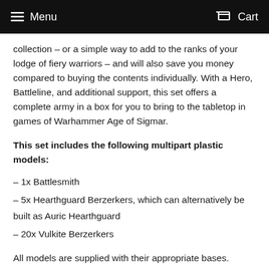Menu  Cart
collection – or a simple way to add to the ranks of your lodge of fiery warriors – and will also save you money compared to buying the contents individually. With a Hero, Battleline, and additional support, this set offers a complete army in a box for you to bring to the tabletop in games of Warhammer Age of Sigmar.
This set includes the following multipart plastic models:
– 1x Battlesmith
– 5x Hearthguard Berzerkers, which can alternatively be built as Auric Hearthguard
– 20x Vulkite Berzerkers
All models are supplied with their appropriate bases.